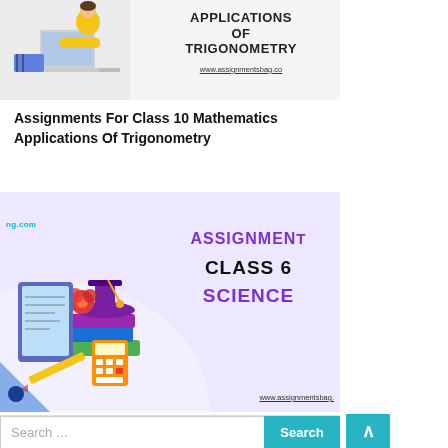[Figure (illustration): Banner image showing a student at a laptop on the left with text APPLICATIONS OF TRIGONOMETRY and website URL www.assignmentsbag.com on the right, gray/white background]
Assignments For Class 10 Mathematics Applications Of Trigonometry
[Figure (illustration): Banner image with light purple background showing education icons (books, graduation cap, calculator, tablet) on the left and bold text ASSIGNMENTS CLASS 6 SCIENCE in purple and black on the right, with ng.com logo top left and www.assignmentsbag. URL at bottom right]
Assignments For Class 6 Science